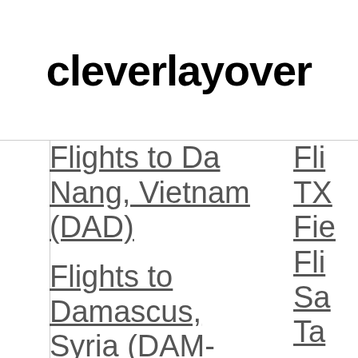cleverlayover
Flights to Da Nang, Vietnam (DAD)
Flights to Damascus, Syria (DAM-Damascus Intl)
Flights to TX Fie...
Flights to Sa Ta...